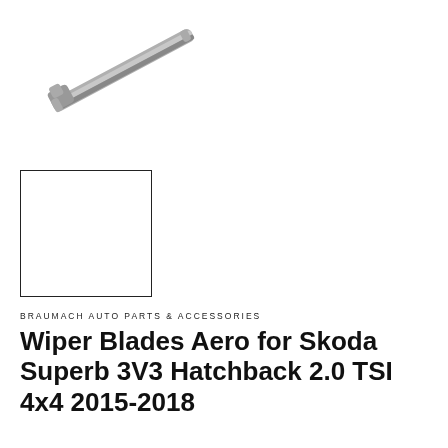[Figure (photo): Product photo of a wiper blade (Aero style), shown at an angle against white background — silver/grey metallic finish.]
[Figure (photo): Thumbnail image placeholder box (white square with border) for secondary product image.]
BRAUMACH AUTO PARTS & ACCESSORIES
Wiper Blades Aero for Skoda Superb 3V3 Hatchback 2.0 TSI 4x4 2015-2018
E405-26-18-112399
$44.95
or 4 interest-free payments of $11.24 with afterpay